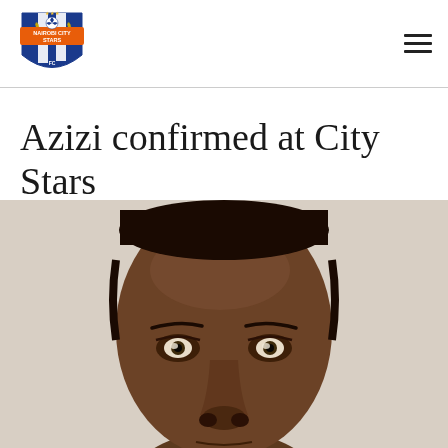[Figure (logo): Nairobi City Stars FC club logo — shield shape with blue and white stripes, orange banner reading NAIROBI CITY STARS, soccer ball, two lions, FC text at bottom]
Azizi confirmed at City Stars
[Figure (photo): Close-up portrait photograph of a young Black male footballer, looking directly at camera with a serious expression, light/white textured wall background]